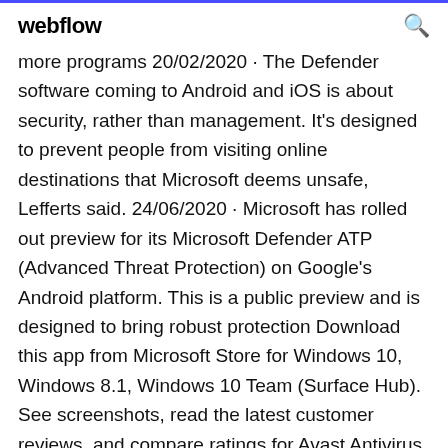webflow
more programs 20/02/2020 · The Defender software coming to Android and iOS is about security, rather than management. It's designed to prevent people from visiting online destinations that Microsoft deems unsafe, Lefferts said. 24/06/2020 · Microsoft has rolled out preview for its Microsoft Defender ATP (Advanced Threat Protection) on Google's Android platform. This is a public preview and is designed to bring robust protection Download this app from Microsoft Store for Windows 10, Windows 8.1, Windows 10 Team (Surface Hub). See screenshots, read the latest customer reviews, and compare ratings for Avast Antivirus Download Center.